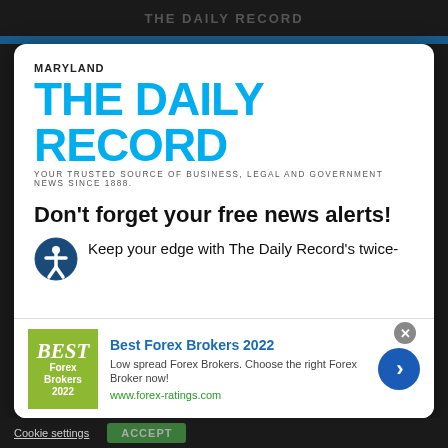THE DAILY RECORD
[Figure (logo): Maryland The Daily Record logo with tagline: YOUR TRUSTED SOURCE OF BUSINESS, LEGAL AND GOVERNMENT NEWS SINCE 1888.]
Don't forget your free news alerts!
Keep your edge with The Daily Record's twice-
[Figure (infographic): Advertisement banner for Best Forex Brokers 2022 from forex-ratings.com. Left: olive/green square logo with text BEST Forex Brokers 2022. Center: Best Forex Brokers 2022 headline, Low spread Forex Brokers. Choose the right Forex Broker now!, www.forex-ratings.com. Right: blue circle arrow button.]
[Figure (other): Red SIGN UP FOR FREE button]
Cookie settings   ACCEPT